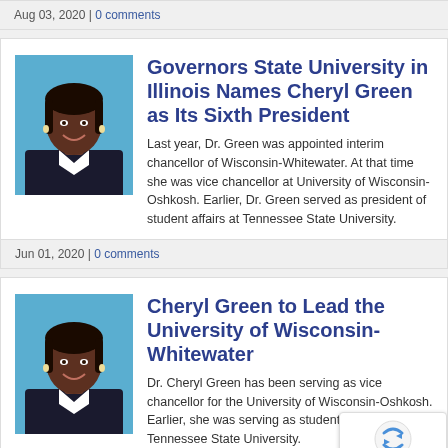Aug 03, 2020 | 0 comments
Governors State University in Illinois Names Cheryl Green as Its Sixth President
Last year, Dr. Green was appointed interim chancellor of Wisconsin-Whitewater. At that time she was vice chancellor at University of Wisconsin-Oshkosh. Earlier, Dr. Green served as president of student affairs at Tennessee State University.
Jun 01, 2020 | 0 comments
Cheryl Green to Lead the University of Wisconsin-Whitewater
Dr. Cheryl Green has been serving as vice chancellor for the University of Wisconsin-Oshkosh. Earlier, she was serving as student affairs at Tennessee State University.
Dec 31, 2018 | 1 comment